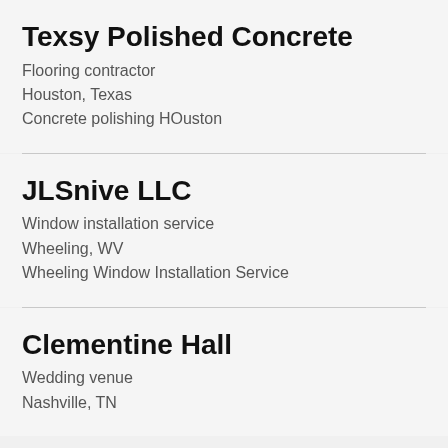Texsy Polished Concrete
Flooring contractor
Houston, Texas
Concrete polishing HOuston
JLSnive LLC
Window installation service
Wheeling, WV
Wheeling Window Installation Service
Clementine Hall
Wedding venue
Nashville, TN